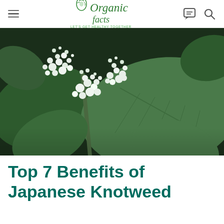Organic Facts — LET'S GET HEALTHY TOGETHER
[Figure (photo): Close-up photo of Japanese Knotweed plant with white flowering clusters and large green leaves against a dark background]
Top 7 Benefits of Japanese Knotweed